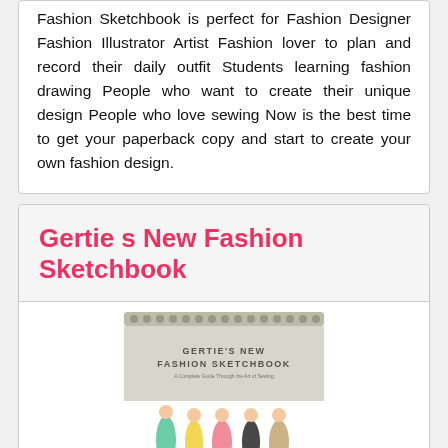Fashion Sketchbook is perfect for Fashion Designer Fashion Illustrator Artist Fashion lover to plan and record their daily outfit Students learning fashion drawing People who want to create their unique design People who love sewing Now is the best time to get your paperback copy and start to create your own fashion design.
Gertie s New Fashion Sketchbook
[Figure (photo): Book cover of Gertie's New Fashion Sketchbook showing a spiral-bound sketchbook with illustrations of fashion figures in colorful dresses]